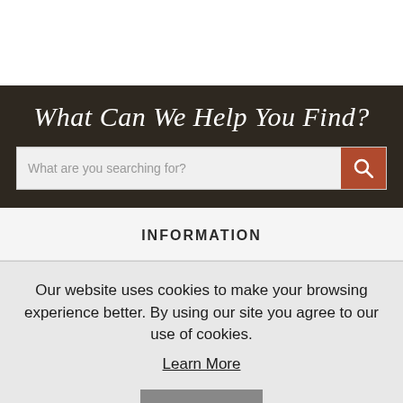What Can We Help You Find?
[Figure (screenshot): Search input bar with placeholder text 'What are you searching for?' and a terracotta/brown search button with magnifying glass icon]
INFORMATION
Our website uses cookies to make your browsing experience better. By using our site you agree to our use of cookies.
Learn More
I Agree